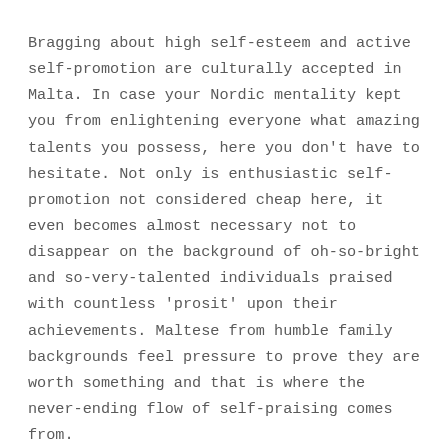Bragging about high self-esteem and active self-promotion are culturally accepted in Malta. In case your Nordic mentality kept you from enlightening everyone what amazing talents you possess, here you don't have to hesitate. Not only is enthusiastic self-promotion not considered cheap here, it even becomes almost necessary not to disappear on the background of oh-so-bright and so-very-talented individuals praised with countless 'prosit' upon their achievements. Maltese from humble family backgrounds feel pressure to prove they are worth something and that is where the never-ending flow of self-praising comes from.
Foreigners in Malta are spared from having to prove something to everyone. They certainly do not have